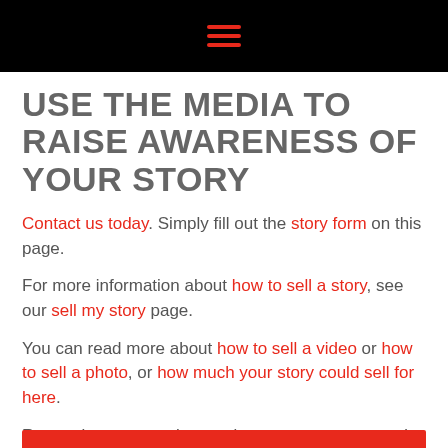≡ (hamburger menu icon)
USE THE MEDIA TO RAISE AWARENESS OF YOUR STORY
Contact us today. Simply fill out the story form on this page.
For more information about how to sell a story, see our sell my story page.
You can read more about how to sell a video or how to sell a photo, or how much your story could sell for here.
Remember, our service won't cost you a penny and there is no obligation. Therefore, what have you got to lose? Contact us now. We will consider any story and we want to hear from you.